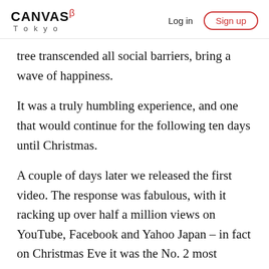CANVAS β Tokyo  Log in  Sign up
tree transcended all social barriers, bring a wave of happiness.
It was a truly humbling experience, and one that would continue for the following ten days until Christmas.
A couple of days later we released the first video. The response was fabulous, with it racking up over half a million views on YouTube, Facebook and Yahoo Japan – in fact on Christmas Eve it was the No. 2 most popular video in Japan.
Next up was media outreach; I contacted about 20 TV networks and news sites, and within a couple of days the